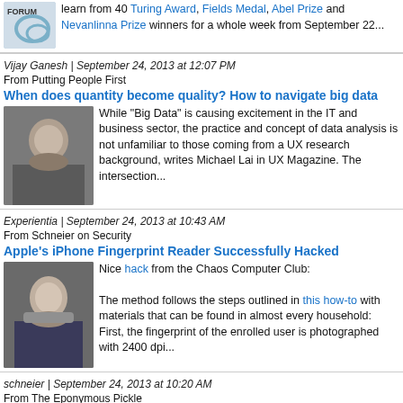learn from 40 Turing Award, Fields Medal, Abel Prize and Nevanlinna Prize winners for a whole week from September 22...
Vijay Ganesh | September 24, 2013 at 12:07 PM
From Putting People First
When does quantity become quality? How to navigate big data
[Figure (photo): Headshot of a middle-aged man smiling, outdoors]
While "Big Data" is causing excitement in the IT and business sector, the practice and concept of data analysis is not unfamiliar to those coming from a UX research background, writes Michael Lai in UX Magazine. The intersection...
Experientia | September 24, 2013 at 10:43 AM
From Schneier on Security
Apple's iPhone Fingerprint Reader Successfully Hacked
[Figure (photo): Headshot of a middle-aged man with beard wearing a suit]
Nice hack from the Chaos Computer Club:
The method follows the steps outlined in this how-to with materials that can be found in almost every household: First, the fingerprint of the enrolled user is photographed with 2400 dpi...
schneier | September 24, 2013 at 10:20 AM
From The Eponymous Pickle
Intellectual Xchange Network
[Figure (photo): Partial headshot at bottom of page, cut off]
See Chris Herbert's Intellectual XChange Network, been a